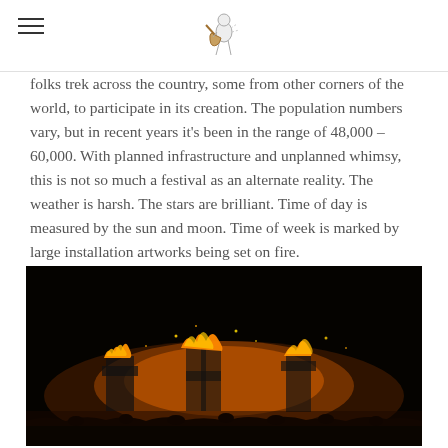[hamburger menu icon] [logo/illustration]
folks trek across the country, some from other corners of the world, to participate in its creation. The population numbers vary, but in recent years it's been in the range of 48,000 – 60,000. With planned infrastructure and unplanned whimsy, this is not so much a festival as an alternate reality. The weather is harsh. The stars are brilliant. Time of day is measured by the sun and moon. Time of week is marked by large installation artworks being set on fire.
[Figure (photo): Nighttime photo of large fire installation art at Burning Man festival. Glowing orange and yellow fiery letters or structures silhouetted against a dark sky, with crowds of people visible in the foreground.]